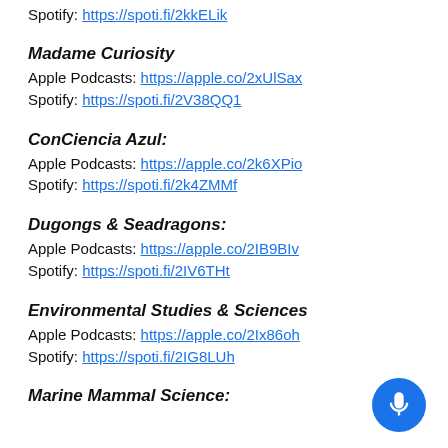Spotify: https://spoti.fi/2kkELik
Madame Curiosity
Apple Podcasts: https://apple.co/2xUlSax
Spotify: https://spoti.fi/2V38QQ1
ConCiencia Azul:
Apple Podcasts: https://apple.co/2k6XPio
Spotify: https://spoti.fi/2k4ZMMf
Dugongs & Seadragons:
Apple Podcasts: https://apple.co/2IB9BIv
Spotify: https://spoti.fi/2IV6THt
Environmental Studies & Sciences
Apple Podcasts: https://apple.co/2Ix86oh
Spotify: https://spoti.fi/2IG8LUh
Marine Mammal Science: